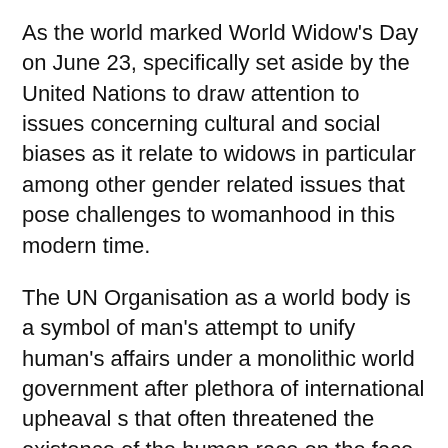As the world marked World Widow's Day on June 23, specifically set aside by the United Nations to draw attention to issues concerning cultural and social biases as it relate to widows in particular among other gender related issues that pose challenges to womanhood in this modern time.
The UN Organisation as a world body is a symbol of man's attempt to unify human's affairs under a monolithic world government after plethora of international upheaval s that often threatened the existence of the human race on the face of mother earth. It therefore concerned its focus on issues that are of paramount challenges to social, political, cultural, economic and psychological development of the human race on earth. These complex challenges are tackled by high level research and deployment of resources into the means for solutions through its various specialized